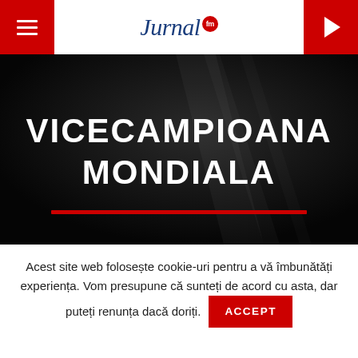Jurnal FM
[Figure (screenshot): Dark hero image with text VICECAMPIOANA MONDIALA in white uppercase bold letters, red horizontal line below text, dark background with faint reflective elements]
VICECAMPIOANA MONDIALA
Acest site web folosește cookie-uri pentru a vă îmbunătăți experiența. Vom presupune că sunteți de acord cu asta, dar puteți renunța dacă doriți.
ACCEPT